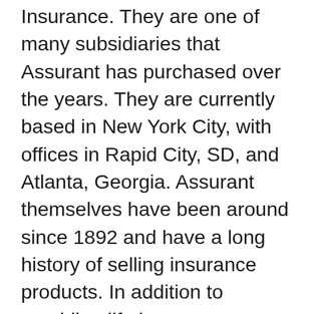Insurance. They are one of many subsidiaries that Assurant has purchased over the years. They are currently based in New York City, with offices in Rapid City, SD, and Atlanta, Georgia. Assurant themselves have been around since 1892 and have a long history of selling insurance products. In addition to providing life insurance directly to customers, Assurant partners with funeral service providers to offer financial solutions. Assurant also has a broad scope of other operations. They sell financial products for a variety of industries, including housing, retail, and more. In the life insurance industry, it is very common for an underwriter to work with a parent company to